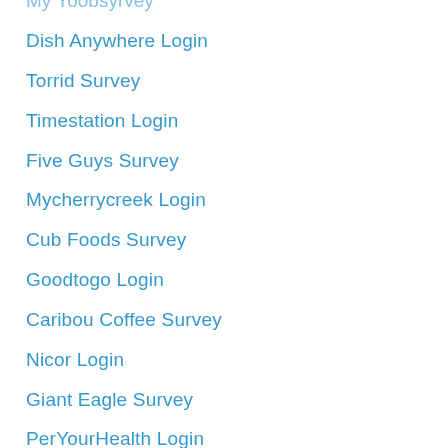My Yoobsyrvey
Dish Anywhere Login
Torrid Survey
Timestation Login
Five Guys Survey
Mycherrycreek Login
Cub Foods Survey
Goodtogo Login
Caribou Coffee Survey
Nicor Login
Giant Eagle Survey
PerYourHealth Login
Harris Teeter Survey